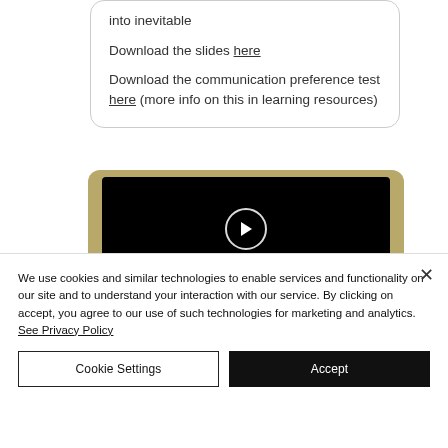into inevitable

Download the slides here

Download the communication preference test here (more info on this in learning resources)
[Figure (screenshot): Video player thumbnail showing a black screen with a circular play button icon in the center, set inside a golden/tan colored rounded card.]
We use cookies and similar technologies to enable services and functionality on our site and to understand your interaction with our service. By clicking on accept, you agree to our use of such technologies for marketing and analytics. See Privacy Policy
Cookie Settings
Accept